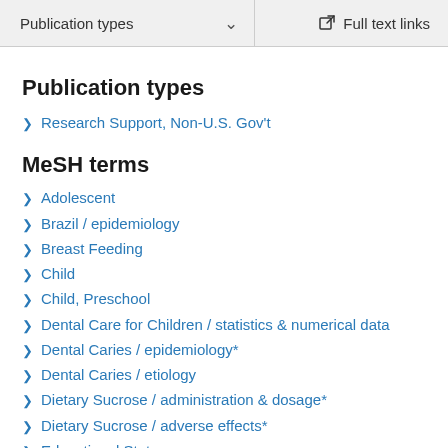Publication types  ∨    Full text links
Publication types
Research Support, Non-U.S. Gov't
MeSH terms
Adolescent
Brazil / epidemiology
Breast Feeding
Child
Child, Preschool
Dental Care for Children / statistics & numerical data
Dental Caries / epidemiology*
Dental Caries / etiology
Dietary Sucrose / administration & dosage*
Dietary Sucrose / adverse effects*
Educational Status